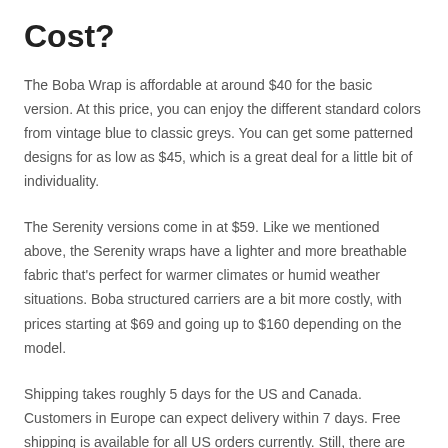Cost?
The Boba Wrap is affordable at around $40 for the basic version. At this price, you can enjoy the different standard colors from vintage blue to classic greys. You can get some patterned designs for as low as $45, which is a great deal for a little bit of individuality.
The Serenity versions come in at $59. Like we mentioned above, the Serenity wraps have a lighter and more breathable fabric that's perfect for warmer climates or humid weather situations. Boba structured carriers are a bit more costly, with prices starting at $69 and going up to $160 depending on the model.
Shipping takes roughly 5 days for the US and Canada. Customers in Europe can expect delivery within 7 days. Free shipping is available for all US orders currently. Still, there are times when